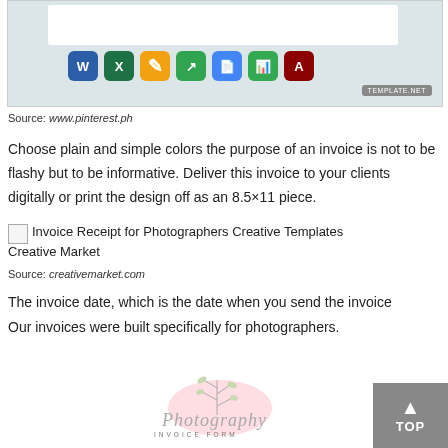[Figure (screenshot): Screenshot showing a white bar and app icons (Word, Excel, Pages, Numbers, Google Docs, Google Sheets, Acrobat) on a light blue-gray background with a TEMPLATE.NET badge in the corner.]
Source: www.pinterest.ph
Choose plain and simple colors the purpose of an invoice is not to be flashy but to be informative. Deliver this invoice to your clients digitally or print the design off as an 8.5×11 piece.
[Figure (photo): Broken image placeholder for Invoice Receipt for Photographers Creative Templates Creative Market]
Source: creativemarket.com
The invoice date, which is the date when you send the invoice
Our invoices were built specifically for photographers.
[Figure (logo): Photography Invoice Form logo with script text and pink blob watercolor background with twig illustration.]